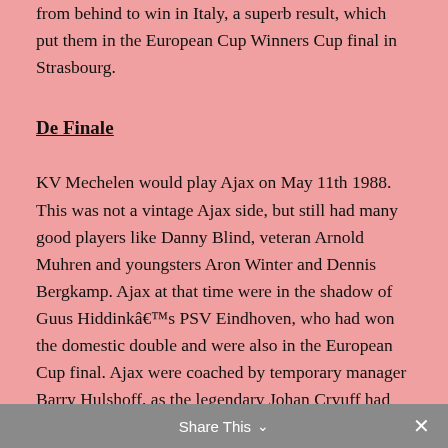from behind to win in Italy, a superb result, which put them in the European Cup Winners Cup final in Strasbourg.
De Finale
KV Mechelen would play Ajax on May 11th 1988. This was not a vintage Ajax side, but still had many good players like Danny Blind, veteran Arnold Muhren and youngsters Aron Winter and Dennis Bergkamp. Ajax at that time were in the shadow of Guus Hiddinkâ€™s PSV Eindhoven, who had won the domestic double and were also in the European Cup final. Ajax were coached by temporary manager Barry Hulshoff, as the legendary Johan Cryuff had departed the club for Barcelona after a moderately successful time in Amsterdam. Ajax were also the reigning champions, having beaten Lokomotiv Leipzig in Athens the year before.
Share This